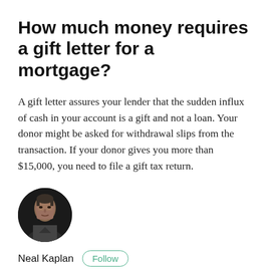How much money requires a gift letter for a mortgage?
A gift letter assures your lender that the sudden influx of cash in your account is a gift and not a loan. Your donor might be asked for withdrawal slips from the transaction. If your donor gives you more than $15,000, you need to file a gift tax return.
[Figure (photo): Circular portrait photo of Neal Kaplan, a man with short dark hair against a dark background.]
Neal Kaplan   Follow
I'm a director of technical communications working for a data